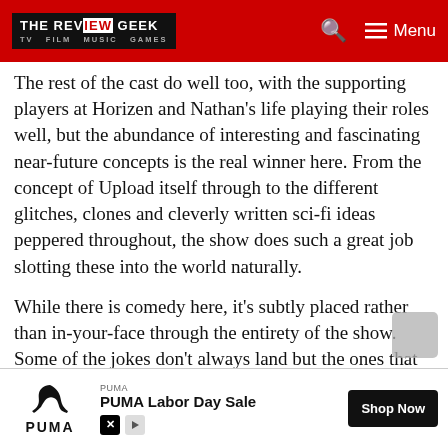THE REVIEW GEEK — TV FILM MUSIC GAMES
The rest of the cast do well too, with the supporting players at Horizen and Nathan's life playing their roles well, but the abundance of interesting and fascinating near-future concepts is the real winner here. From the concept of Upload itself through to the different glitches, clones and cleverly written sci-fi ideas peppered throughout, the show does such a great job slotting these into the world naturally.
While there is comedy here, it's subtly placed rather than in-your-face through the entirety of the show. Some of the jokes don't always land but the ones that do – like the recurring joke about Nathan's misplaced hair in the first episode – make up for any shortfalls with the simple one-liners
[Figure (other): PUMA Labor Day Sale advertisement banner with Puma logo, tagline 'PUMA Labor Day Sale', and 'Shop Now' button]